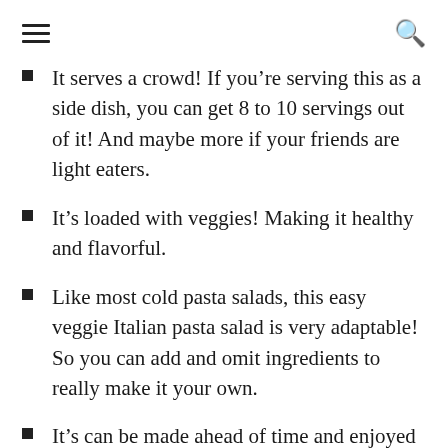≡  🔍
It serves a crowd! If you're serving this as a side dish, you can get 8 to 10 servings out of it! And maybe more if your friends are light eaters.
It's loaded with veggies! Making it healthy and flavorful.
Like most cold pasta salads, this easy veggie Italian pasta salad is very adaptable! So you can add and omit ingredients to really make it your own.
It's can be made ahead of time and enjoyed